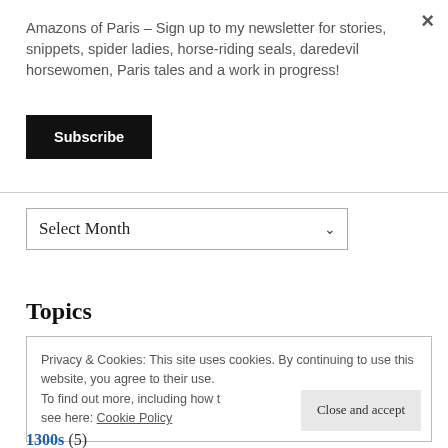×
Amazons of Paris – Sign up to my newsletter for stories, snippets, spider ladies, horse-riding seals, daredevil horsewomen, Paris tales and a work in progress!
Subscribe
Select Month
Topics
Privacy & Cookies: This site uses cookies. By continuing to use this website, you agree to their use. To find out more, including how to control cookies, see here: Cookie Policy
Close and accept
1300s (5)